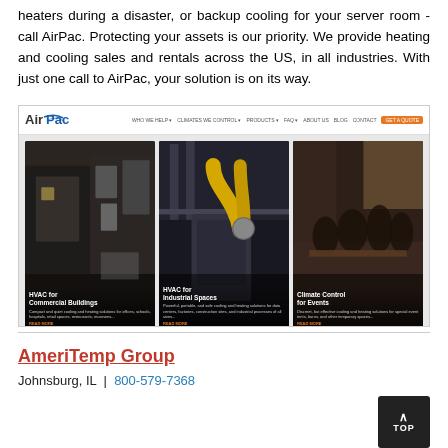heaters during a disaster, or backup cooling for your server room - call AirPac. Protecting your assets is our priority. We provide heating and cooling sales and rentals across the US, in all industries. With just one call to AirPac, your solution is on its way.
[Figure (screenshot): Screenshot of AirPac website showing navigation bar with logo and menu items (WHO WE HELP, CLIMATES WE CONTROL, PRODUCTS, FAQ, ABOUT US, BLOG, CONTACT, GET A QUOTE button), and three image cards: HVAC for Commercial Buildings, HVAC for Industrial Spaces, Climate Control for Events, each with description text and READ MORE link.]
AmeriTemp Group
Johnsburg, IL  |  800-579-7368